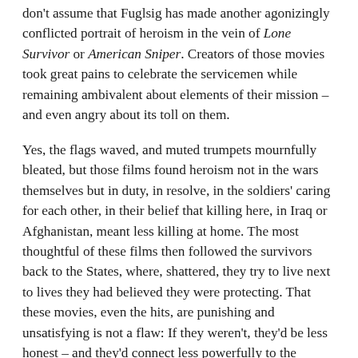don't assume that Fuglsig has made another agonizingly conflicted portrait of heroism in the vein of Lone Survivor or American Sniper. Creators of those movies took great pains to celebrate the servicemen while remaining ambivalent about elements of their mission – and even angry about its toll on them.
Yes, the flags waved, and muted trumpets mournfully bleated, but those films found heroism not in the wars themselves but in duty, in resolve, in the soldiers' caring for each other, in their belief that killing here, in Iraq or Afghanistan, meant less killing at home. The most thoughtful of these films then followed the survivors back to the States, where, shattered, they try to live next to lives they had believed they were protecting. That these movies, even the hits, are punishing and unsatisfying is not a flaw: If they weren't, they'd be less honest – and they'd connect less powerfully to the American families who see something of their own soldiers in them.